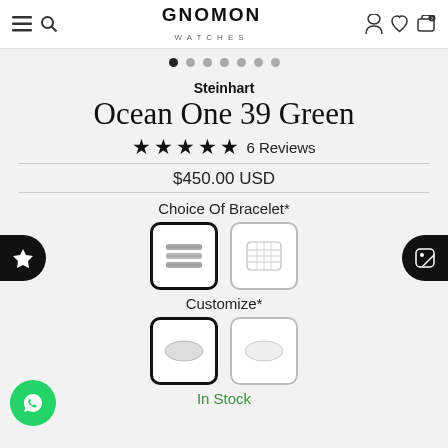GNOMON WATCHES
[Figure (screenshot): Carousel navigation dots, 7 dots with first one active]
Steinhart
Ocean One 39 Green
★★★★★ 6 Reviews
$450.00 USD
Choice Of Bracelet*
[Figure (photo): Two bracelet option boxes: first (oyster/metal bracelet) selected with thick border, second (jubilee/mesh bracelet) unselected]
Customize*
[Figure (photo): Two customize option boxes: first selected (oval/bezel shape), second unselected]
In Stock